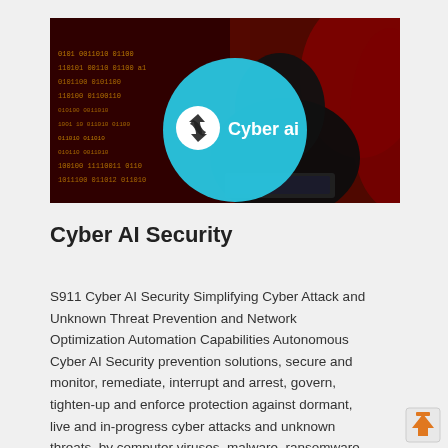[Figure (illustration): A hero image showing a hooded figure (hacker) in front of code on a red background, with a large cyan/blue circle overlay containing a white circular logo icon and the text 'Cyber ai' in white.]
Cyber AI Security
S911 Cyber AI Security Simplifying Cyber Attack and Unknown Threat Prevention and Network Optimization Automation Capabilities Autonomous Cyber AI Security prevention solutions, secure and monitor, remediate, interrupt and arrest, govern, tighten-up and enforce protection against dormant, live and in-progress cyber attacks and unknown threats, by computer viruses, malware, ransomware, hacks, zero day, website and